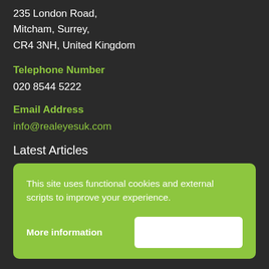235 London Road,
Mitcham, Surrey,
CR4 3NH, United Kingdom
Telephone Number
020 8544 5222
Email Address
info@realeyesuk.com
Latest Articles
This site uses functional cookies and external scripts to improve your experience.
More information